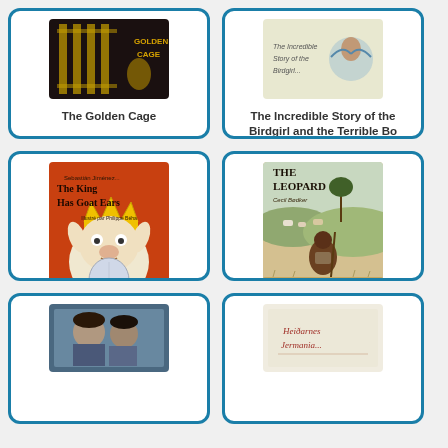[Figure (illustration): Book cover: The Golden Cage - dark cover with golden cage graphic]
The Golden Cage
[Figure (illustration): Book cover: The Incredible Story of the Birdgirl and the Terrible Bo...]
The Incredible Story of the Birdgirl and the Terrible Bo
[Figure (illustration): Book cover: The King Has Goat Ears - illustrated fantasy creature with crown]
The King Has Goat Ears
[Figure (illustration): Book cover: The Leopard by Cecil Bodker - African pastoral scene with boy holding stick]
The Leopard
[Figure (photo): Book cover: blue-toned photo cover, partially visible]
[Figure (illustration): Book cover: script/handwritten style title, partially visible]